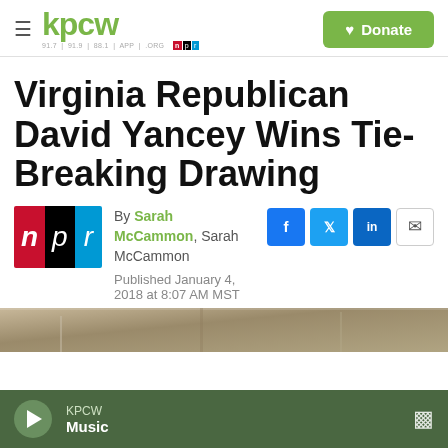kpcw — 91.7 | 91.9 | 88.1 | APP | .ORG | NPR | Donate
Virginia Republican David Yancey Wins Tie-Breaking Drawing
By Sarah McCammon, Sarah McCammon
Published January 4, 2018 at 8:07 AM MST
[Figure (screenshot): Bottom portion of an indoor photo, partially visible]
KPCW Music — player bar